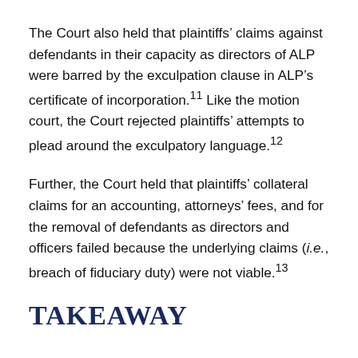The Court also held that plaintiffs' claims against defendants in their capacity as directors of ALP were barred by the exculpation clause in ALP's certificate of incorporation.11 Like the motion court, the Court rejected plaintiffs' attempts to plead around the exculpatory language.12
Further, the Court held that plaintiffs' collateral claims for an accounting, attorneys' fees, and for the removal of defendants as directors and officers failed because the underlying claims (i.e., breach of fiduciary duty) were not viable.13
TAKEAWAY